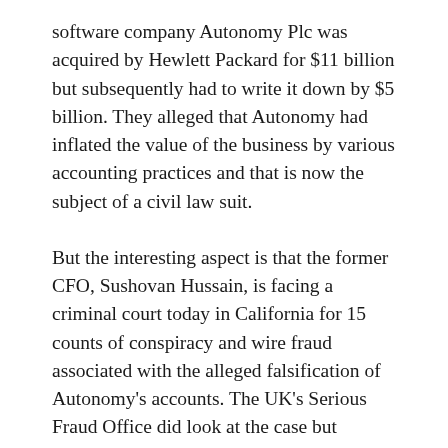software company Autonomy Plc was acquired by Hewlett Packard for $11 billion but subsequently had to write it down by $5 billion. They alleged that Autonomy had inflated the value of the business by various accounting practices and that is now the subject of a civil law suit.
But the interesting aspect is that the former CFO, Sushovan Hussain, is facing a criminal court today in California for 15 counts of conspiracy and wire fraud associated with the alleged falsification of Autonomy's accounts. The UK's Serious Fraud Office did look at the case but dropped it in 2015.